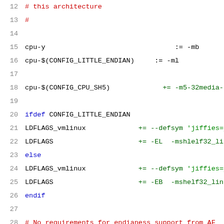12   # this architecture
13   #
14
15   cpu-y                                    := -mb
16   cpu-$(CONFIG_LITTLE_ENDIAN)        := -ml
17
18   cpu-$(CONFIG_CPU_SH5)                  += -m5-32media-r
19
20   ifdef CONFIG_LITTLE_ENDIAN
21   LDFLAGS_vmlinux              += --defsym 'jiffies=ji
22   LDFLAGS                      += -EL  -mshlelf32_linu
23   else
24   LDFLAGS_vmlinux              += --defsym 'jiffies=ji
25   LDFLAGS                      += -EB  -mshelf32_linux
26   endif
27
28   # No requirements for endianess support from AF
29   CFLAGS           += $(cpu-y)
30
31   LDFLAGS_vmlinux += --defsym phys_stext=_stext-$
32                    --defsym phys_stext_shmedia=ph